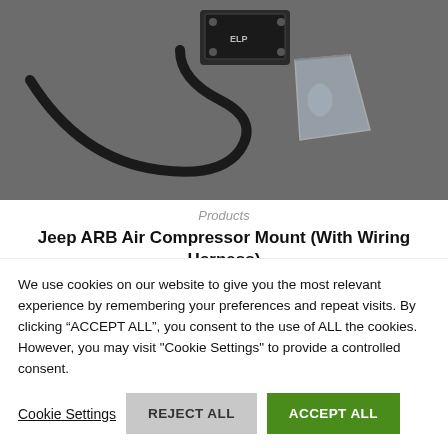[Figure (photo): Black and white photo of a Jeep ARB Air Compressor Mount with wiring harness and small plastic bag of hardware on a dark surface.]
Products
Jeep ARB Air Compressor Mount (With Wiring Harness)
$299.99
Add to cart
We use cookies on our website to give you the most relevant experience by remembering your preferences and repeat visits. By clicking “ACCEPT ALL”, you consent to the use of ALL the cookies. However, you may visit "Cookie Settings" to provide a controlled consent.
Cookie Settings | REJECT ALL | ACCEPT ALL